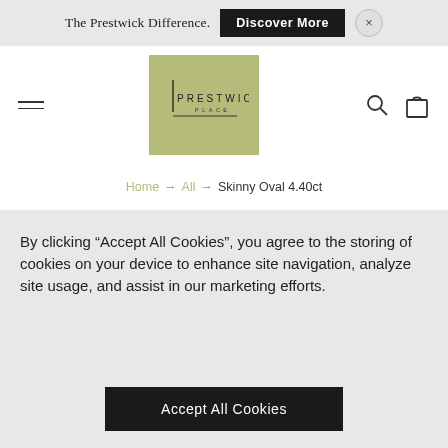The Prestwick Difference.  Discover More  ×
[Figure (logo): Prestwick Place logo on olive/sage green background with vertical bar accent, text PRESTWICK PLACE]
Home → All → Skinny Oval 4.40ct
By clicking "Accept All Cookies", you agree to the storing of cookies on your device to enhance site navigation, analyze site usage, and assist in our marketing efforts.
Accept All Cookies